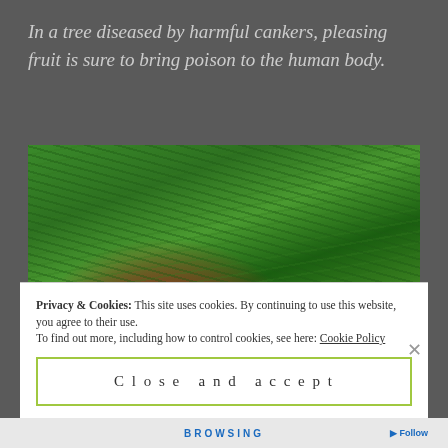In a tree diseased by harmful cankers, pleasing fruit is sure to bring poison to the human body.
[Figure (photo): Close-up photograph of a fallen reddish-brown leaf or fruit on green grass, with lush green grass blades surrounding it.]
Privacy & Cookies: This site uses cookies. By continuing to use this website, you agree to their use. To find out more, including how to control cookies, see here: Cookie Policy
Close and accept
BROWSING